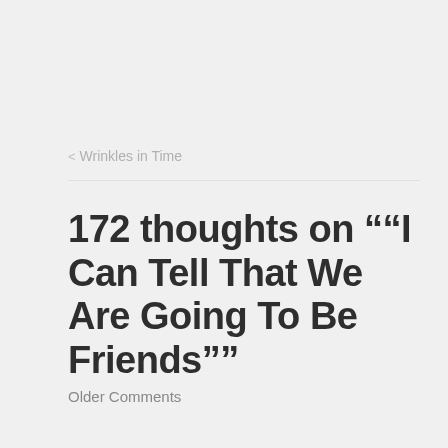< Wrinkles in Time
172 thoughts on "“I Can Tell That We Are Going To Be Friends”"
Older Comments